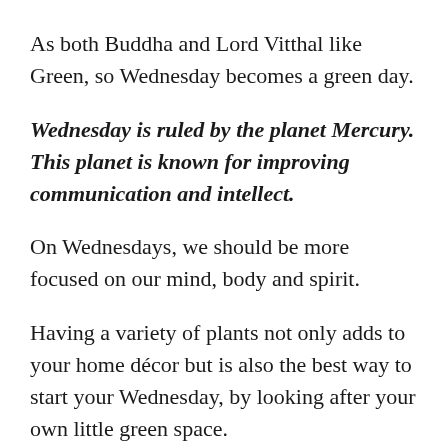As both Buddha and Lord Vitthal like Green, so Wednesday becomes a green day.
Wednesday is ruled by the planet Mercury. This planet is known for improving communication and intellect.
On Wednesdays, we should be more focused on our mind, body and spirit.
Having a variety of plants not only adds to your home décor but is also the best way to start your Wednesday, by looking after your own little green space.